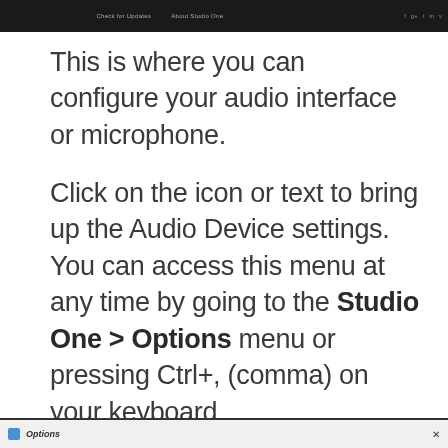[Figure (screenshot): Dark navigation bar from Studio One website showing menu items and social icons]
This is where you can configure your audio interface or microphone.
Click on the icon or text to bring up the Audio Device settings. You can access this menu at any time by going to the Studio One > Options menu or pressing Ctrl+, (comma) on your keyboard.
[Figure (screenshot): Bottom portion of Studio One Options dialog window]